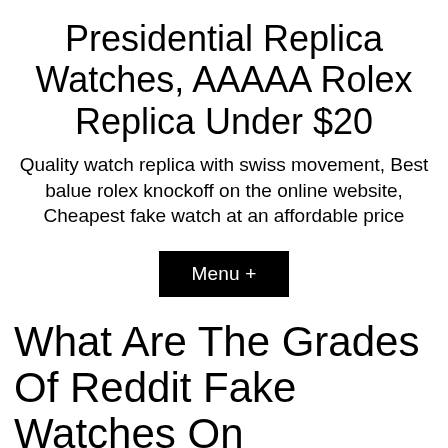Presidential Replica Watches, AAAAA Rolex Replica Under $20
Quality watch replica with swiss movement, Best balue rolex knockoff on the online website, Cheapest fake watch at an affordable price
Menu +
What Are The Grades Of Reddit Fake Watches On